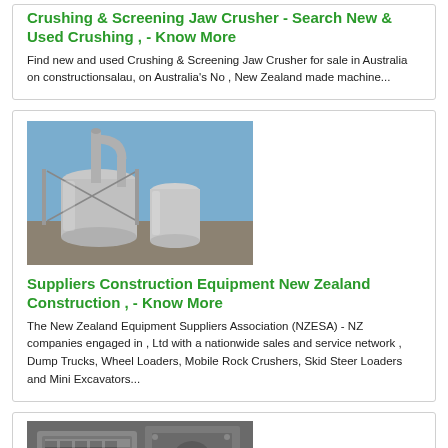Crushing & Screening Jaw Crusher - Search New & Used Crushing , - Know More
Find new and used Crushing & Screening Jaw Crusher for sale in Australia on constructionsalau, on Australia's No , New Zealand made machine...
[Figure (photo): Industrial grinding/milling equipment with large cylindrical tanks and pipes against a blue sky]
Suppliers Construction Equipment New Zealand Construction , - Know More
The New Zealand Equipment Suppliers Association (NZESA) - NZ companies engaged in , Ltd with a nationwide sales and service network , Dump Trucks, Wheel Loaders, Mobile Rock Crushers, Skid Steer Loaders and Mini Excavators...
[Figure (photo): Close-up of industrial jaw crusher machinery with metal components]